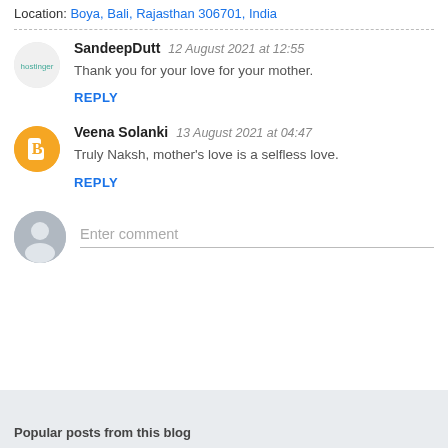Location: Boya, Bali, Rajasthan 306701, India
SandeepDutt  12 August 2021 at 12:55
Thank you for your love for your mother.
REPLY
Veena Solanki  13 August 2021 at 04:47
Truly Naksh, mother's love is a selfless love.
REPLY
Enter comment
Popular posts from this blog